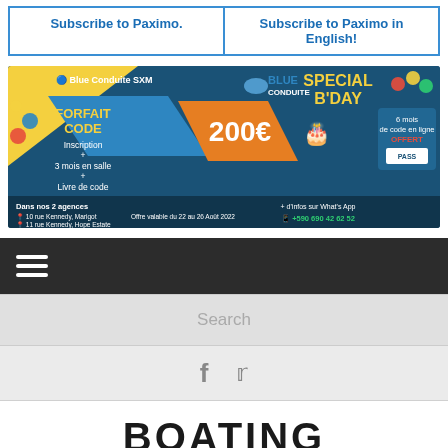| Subscribe to Paximo. | Subscribe to Paximo in English! |
[Figure (illustration): Blue Conduite SXM advertisement banner. Special B'Day offer: Forfait Code 200€ including Inscription + 3 mois en salle + Livre de code. 6 mois de code en ligne OFFERT (Pass Bonneeau). Locations: 10 rue Kennedy, Marigot and 11 rue Kennedy, Hope Estate. Offer valid 22 to 26 Août 2022. +590 690 42 62 52 on What's App.]
[Figure (other): Navigation bar with hamburger menu icon (three white lines) on dark background]
[Figure (other): Search bar with placeholder text 'Search' on light grey background]
[Figure (other): Social media icons bar: Facebook (f) and Twitter bird icons in grey]
BOATING